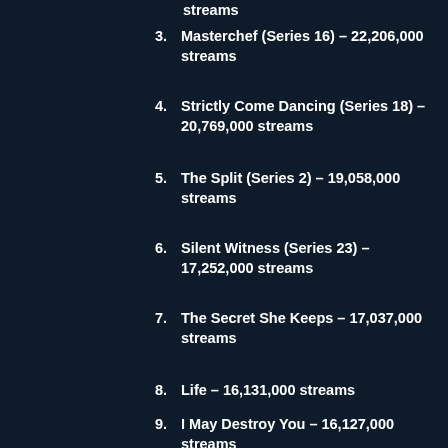streams
3. Masterchef (Series 16) – 22,206,000 streams
4. Strictly Come Dancing (Series 18) – 20,769,000 streams
5. The Split (Series 2) – 19,058,000 streams
6. Silent Witness (Series 23) – 17,252,000 streams
7. The Secret She Keeps – 17,037,000 streams
8. Life – 16,131,000 streams
9. I May Destroy You – 16,127,000 streams
10. This Country (Series 3) – 15,788,000 streams
11. Masterchef: The Professionals (Series 13) – 15,290,000 streams
12. The Nest – 14,684,000 streams
13. Doctor Who (Series 12) – 13,422,000